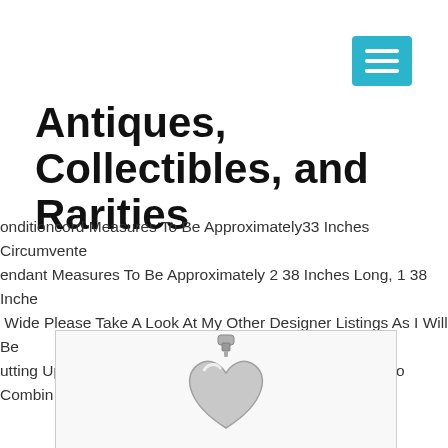[Figure (other): Navigation hamburger menu button in teal/cyan color with three white horizontal lines]
Antiques, Collectibles, and Rarities
onditioncord Measures To Be Approximately33 Inches Circumvente endant Measures To Be Approximately 2 38 Inches Long, 1 38 Inche Wide Please Take A Look At My Other Designer Listings As I Will Be utting Up More Stuff From My Own Personal Collectioni Do Combin Shipping
[Figure (photo): Silver heart-shaped pendant with a bail/clasp at the top, shown on white background]